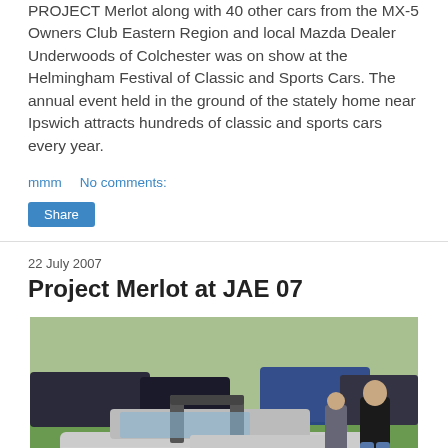PROJECT Merlot along with 40 other cars from the MX-5 Owners Club Eastern Region and local Mazda Dealer Underwoods of Colchester was on show at the Helmingham Festival of Classic and Sports Cars. The annual event held in the ground of the stately home near Ipswich attracts hundreds of classic and sports cars every year.
mmm   No comments:
Share
22 July 2007
Project Merlot at JAE 07
[Figure (photo): Photo of a silver Mazda MX-5 sports car (Project Merlot) with roll bar at JAE 07 event, surrounded by people and other cars on a grass field.]